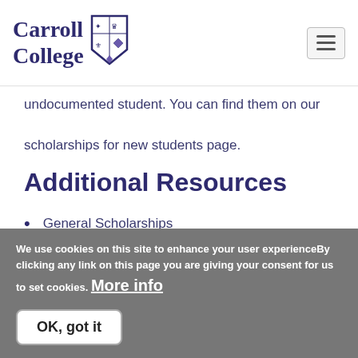Carroll College
undocumented student. You can find them on our scholarships for new students page.
Additional Resources
General Scholarships
Carroll Tuition Costs and Fees
We use cookies on this site to enhance your user experienceBy clicking any link on this page you are giving your consent for us to set cookies. More info
OK, got it